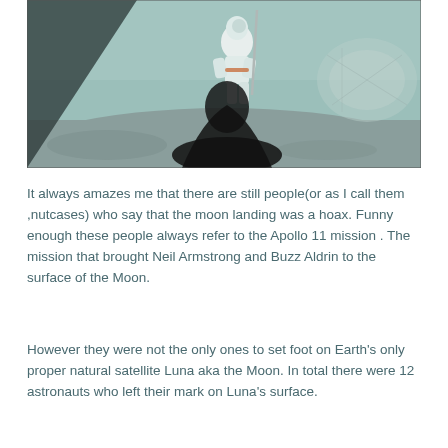[Figure (photo): An astronaut on the lunar surface holding equipment, with a large shadow of the photographer in the foreground and lunar equipment visible on the right side. The lunar surface is gray and the sky is a muted teal/gray.]
It always amazes me that there are still people(or as I call them ,nutcases) who say that the moon landing was a hoax. Funny enough these people always refer to the Apollo 11 mission . The mission that brought Neil Armstrong and Buzz Aldrin to the surface of the Moon.
However they were not the only ones to set foot on Earth's only proper natural satellite Luna aka the Moon. In total there were 12 astronauts who left their mark on Luna's surface.